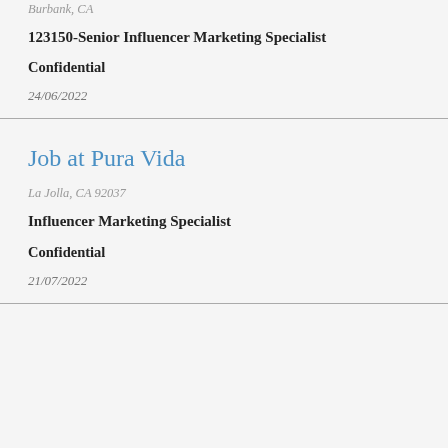Burbank, CA
123150-Senior Influencer Marketing Specialist
Confidential
24/06/2022
Job at Pura Vida
La Jolla, CA 92037
Influencer Marketing Specialist
Confidential
21/07/2022